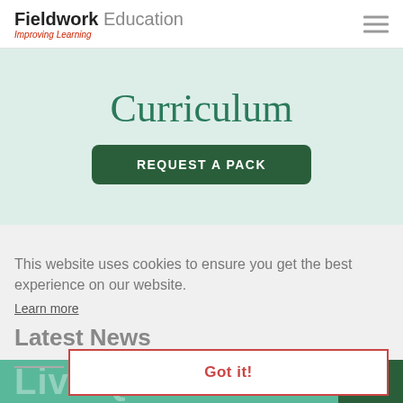Fieldwork Education — Improving Learning
Curriculum
REQUEST A PACK
This website uses cookies to ensure you get the best experience on our website.
Learn more
Latest News
Got it!
[Figure (screenshot): Partial Live Q&A banner at bottom of page]